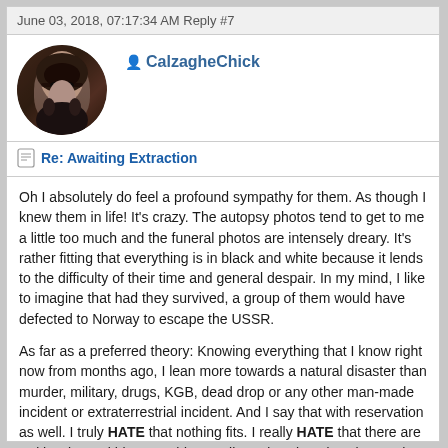June 03, 2018, 07:17:34 AMReply #7
[Figure (photo): Circular avatar photo of forum user CalzagheChick, a woman with dark hair and heavy eye makeup wearing dark clothing]
CalzagheChick
Re: Awaiting Extraction
Oh I absolutely do feel a profound sympathy for them. As though I knew them in life! It's crazy. The autopsy photos tend to get to me a little too much and the funeral photos are intensely dreary. It's rather fitting that everything is in black and white because it lends to the difficulty of their time and general despair. In my mind, I like to imagine that had they survived, a group of them would have defected to Norway to escape the USSR.

As far as a preferred theory: Knowing everything that I know right now from months ago, I lean more towards a natural disaster than murder, military, drugs, KGB, dead drop or any other man-made incident or extraterrestrial incident. And I say that with reservation as well. I truly HATE that nothing fits. I really HATE that there are red herrings within our evidence pile and we just don't know what they are in order for one theory to stick here. I've got my money that the beta particle radiation on the clothing is one of those red herrings. I